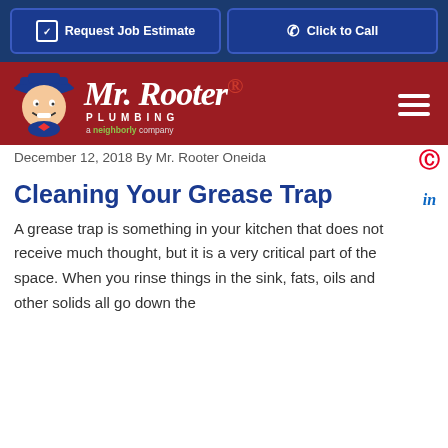Request Job Estimate | Click to Call
[Figure (logo): Mr. Rooter Plumbing logo with mascot character on dark red background, with hamburger menu icon]
December 12, 2018 By Mr. Rooter Oneida
Cleaning Your Grease Trap
A grease trap is something in your kitchen that does not receive much thought, but it is a very critical part of the space. When you rinse things in the sink, fats, oils and other solids all go down the